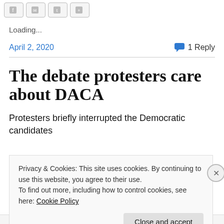[Figure (screenshot): Row of social share buttons at top of page]
Loading...
April 2, 2020    💬 1 Reply
The debate protesters care about DACA
Protesters briefly interrupted the Democratic candidates
Privacy & Cookies: This site uses cookies. By continuing to use this website, you agree to their use.
To find out more, including how to control cookies, see here: Cookie Policy
Close and accept